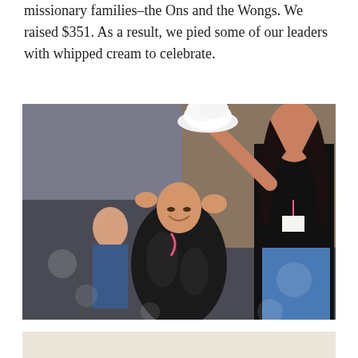missionary families–the Ons and the Wongs. We raised $351. As a result, we pied some of our leaders with whipped cream to celebrate.
[Figure (photo): A woman holding a plate of whipped cream above a person wrapped in a black trash bag, about to pie them. A child stands in the background. The scene takes place in an indoor venue.]
[Figure (photo): A person or group of people seated in an indoor venue, partially visible at the bottom of the page.]